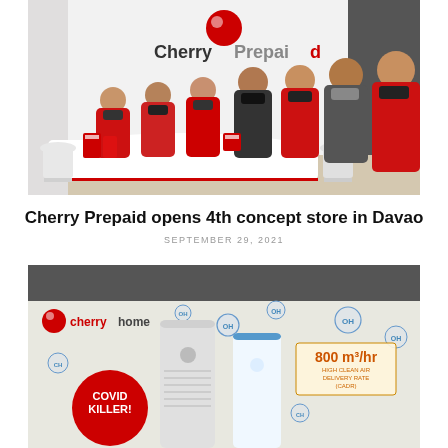[Figure (photo): Group photo of Cherry Prepaid staff in red uniforms and black face masks standing behind a white curved counter inside a Cherry Prepaid concept store. The Cherry Prepaid logo is visible on the wall behind them.]
Cherry Prepaid opens 4th concept store in Davao
SEPTEMBER 29, 2021
[Figure (photo): Cherry Home product advertisement showing two air purifiers with OH bubble graphics around them. A red circle badge reads 'COVID KILLER!' and a box shows '800 m³/hr HIGH CLEAN AIR DELIVERY RATE (CADR)'. The Cherry Home logo is visible at the top left.]